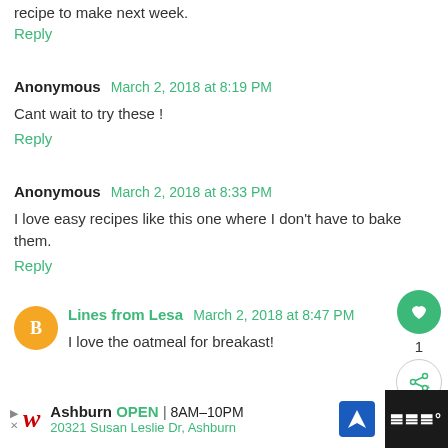recipe to make next week.
Reply
Anonymous  March 2, 2018 at 8:19 PM
Cant wait to try these !
Reply
Anonymous  March 2, 2018 at 8:33 PM
I love easy recipes like this one where I don't have to bake them.
Reply
Lines from Lesa  March 2, 2018 at 8:47 PM
I love the oatmeal for breakast!
Reply
Ashburn  OPEN  8AM–10PM  20321 Susan Leslie Dr, Ashburn